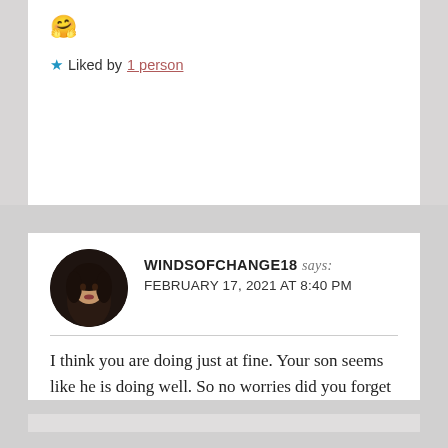🤗
★ Liked by 1 person
WINDSOFCHANGE18 says: FEBRUARY 17, 2021 AT 8:40 PM
I think you are doing just at fine. Your son seems like he is doing well. So no worries did you forget your Superman...whoops I mean Superdad lol😂
★ Liked by 1 person
↩ Reply